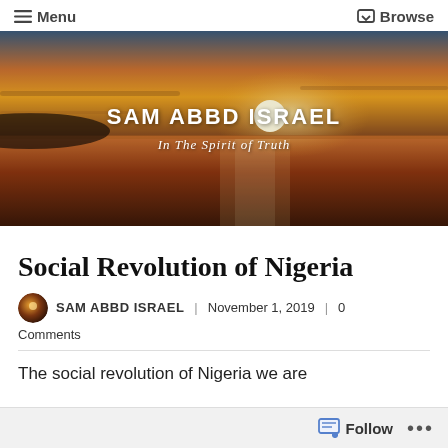☰ Menu   ☑ Browse
[Figure (photo): Sunset over ocean/sea with bright sun near horizon, warm orange and golden tones. Overlaid with site name 'SAM ABBD ISRAEL' and tagline 'In The Spirit of Truth']
Social Revolution of Nigeria
SAM ABBD ISRAEL | November 1, 2019 | 0 Comments
The social revolution of Nigeria we are